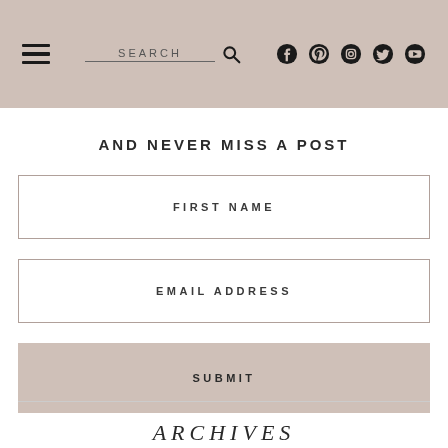SEARCH [search icon] [facebook] [pinterest] [instagram] [twitter] [youtube]
AND NEVER MISS A POST
FIRST NAME
EMAIL ADDRESS
SUBMIT
ARCHIVES